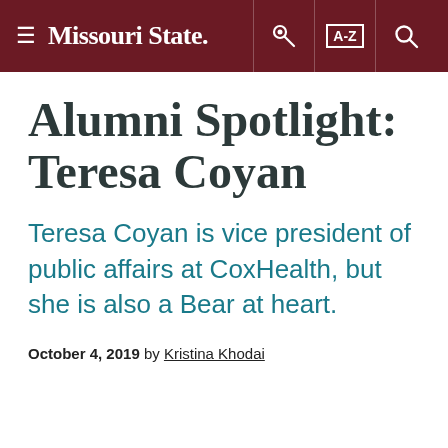≡ Missouri State. [key icon] [A-Z] [search icon]
Alumni Spotlight: Teresa Coyan
Teresa Coyan is vice president of public affairs at CoxHealth, but she is also a Bear at heart.
October 4, 2019 by Kristina Khodai